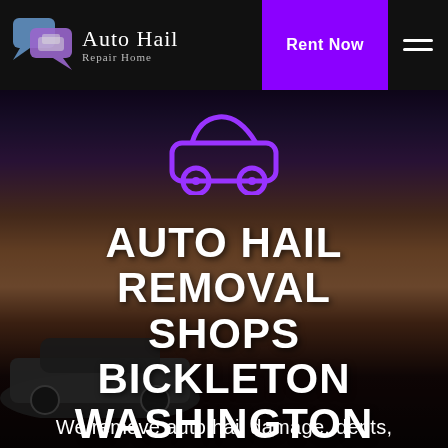Auto Hail Repair Home — Rent Now
[Figure (illustration): Purple car icon outline in center of hero image]
AUTO HAIL REMOVAL SHOPS BICKLETON WASHINGTON
We remove auto hail damage, dents,